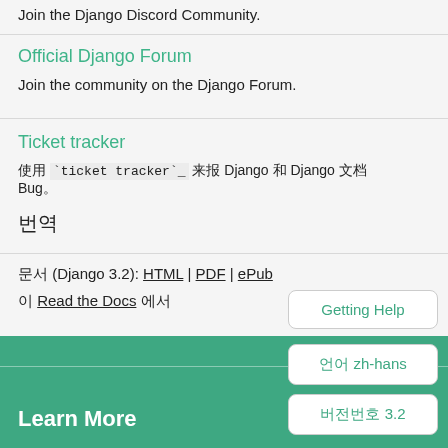Join the Django Discord Community.
Official Django Forum
Join the community on the Django Forum.
Ticket tracker
使用 `ticket tracker`_ 来报 Django 和 Django 文档 Bug。
번역
문서 (Django 3.2): HTML | PDF | ePub
이 Read the Docs 에서
Getting Help
언어 zh-hans
버전번호 3.2
Learn More